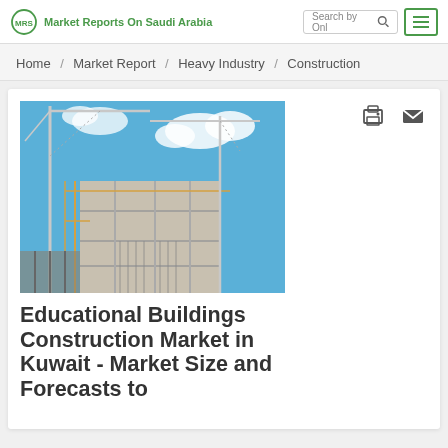Market Reports On Saudi Arabia
Home / Market Report / Heavy Industry / Construction
[Figure (photo): Construction site with cranes and concrete building structure under blue sky]
Educational Buildings Construction Market in Kuwait - Market Size and Forecasts to